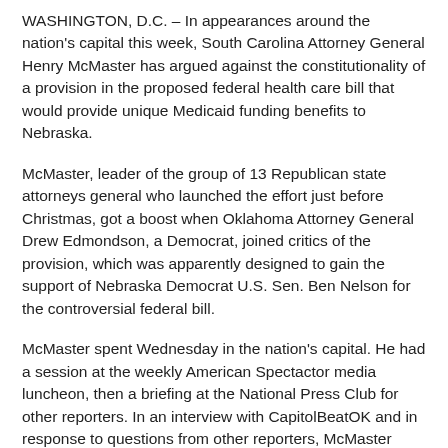WASHINGTON, D.C. – In appearances around the nation's capital this week, South Carolina Attorney General Henry McMaster has argued against the constitutionality of a provision in the proposed federal health care bill that would provide unique Medicaid funding benefits to Nebraska.
McMaster, leader of the group of 13 Republican state attorneys general who launched the effort just before Christmas, got a boost when Oklahoma Attorney General Drew Edmondson, a Democrat, joined critics of the provision, which was apparently designed to gain the support of Nebraska Democrat U.S. Sen. Ben Nelson for the controversial federal bill.
McMaster spent Wednesday in the nation's capital. He had a session at the weekly American Spectactor media luncheon, then a briefing at the National Press Club for other reporters. In an interview with CapitolBeatOK and in response to questions from other reporters, McMaster detailed the